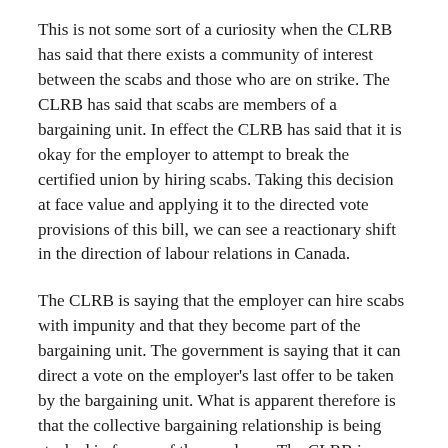This is not some sort of a curiosity when the CLRB has said that there exists a community of interest between the scabs and those who are on strike. The CLRB has said that scabs are members of a bargaining unit. In effect the CLRB has said that it is okay for the employer to attempt to break the certified union by hiring scabs. Taking this decision at face value and applying it to the directed vote provisions of this bill, we can see a reactionary shift in the direction of labour relations in Canada.
The CLRB is saying that the employer can hire scabs with impunity and that they become part of the bargaining unit. The government is saying that it can direct a vote on the employer's last offer to be taken by the bargaining unit. What is apparent therefore is that the collective bargaining relationship is being stacked in favour of the employer. The CLRB is redefining the bargaining unit; the government is defining